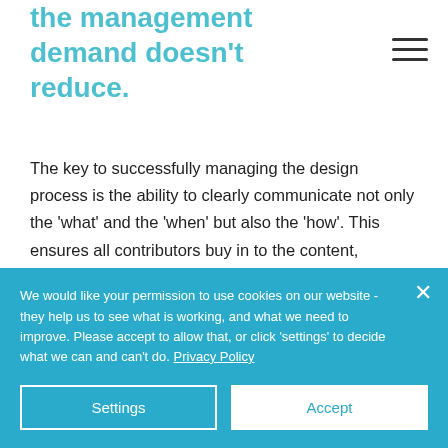the management demand doesn't reduce.
The key to successfully managing the design process is the ability to clearly communicate not only the 'what' and the 'when' but also the 'how'. This ensures all contributors buy in to the content, sequence and method for the delivery of the design.
We would like your permission to use cookies on our website - they help us to see what is working, and what we need to improve. Please accept to allow that, or click 'settings' to decide what we can and can't do. Privacy Policy